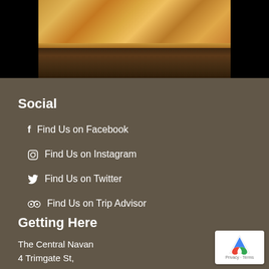[Figure (photo): Photo of food (fried items) on a wooden table background, top portion of page, black sides]
Social
Find Us on Facebook
Find Us on Instagram
Find Us on Twitter
Find Us on Trip Advisor
Getting Here
The Central Navan
4 Trimgate St,
Navan, Co. Meath, C15YX00